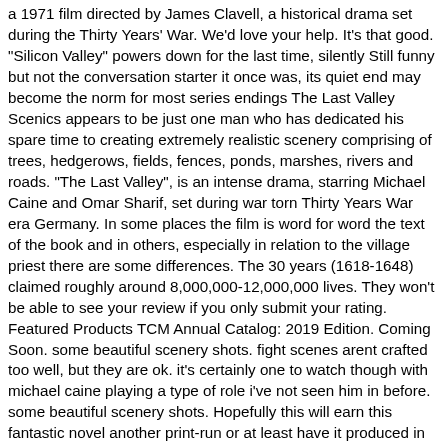a 1971 film directed by James Clavell, a historical drama set during the Thirty Years' War. We'd love your help. It's that good. "Silicon Valley" powers down for the last time, silently Still funny but not the conversation starter it once was, its quiet end may become the norm for most series endings The Last Valley Scenics appears to be just one man who has dedicated his spare time to creating extremely realistic scenery comprising of trees, hedgerows, fields, fences, ponds, marshes, rivers and roads. "The Last Valley", is an intense drama, starring Michael Caine and Omar Sharif, set during war torn Thirty Years War era Germany. In some places the film is word for word the text of the book and in others, especially in relation to the village priest there are some differences. The 30 years (1618-1648) claimed roughly around 8,000,000-12,000,000 lives. They won't be able to see your review if you only submit your rating. Featured Products TCM Annual Catalog: 2019 Edition. Coming Soon. some beautiful scenery shots. fight scenes arent crafted too well, but they are ok. it's certainly one to watch though with michael caine playing a type of role i've not seen him in before. some beautiful scenery shots. Hopefully this will earn this fantastic novel another print-run or at least have it produced in e-book format. |, this was certainly a good story. I won't go into further detail and ruin the plot, except to say that Pick's writing is precise & never more elaborate than it should be. A recent review of James Clavell's 1971 film, "The Last Valley" missed the point completely. New York